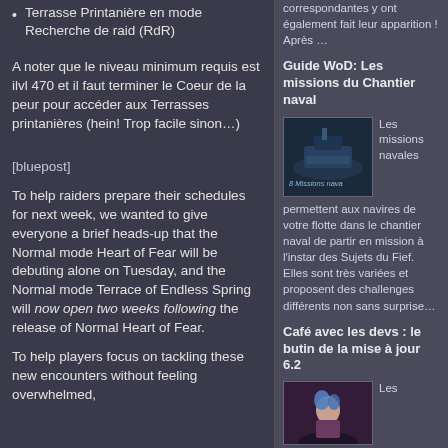Terrasse Printanière en mode Recherche de raid (RdR)
A noter que le niveau minimum requis est ilvl 470 et il faut terminer le Coeur de la peur pour accéder aux Terrasses printanières (hein! Trop facile sinon…)
[bluepost]
To help raiders prepare their schedules for next week, we wanted to give everyone a brief heads-up that the Normal mode Heart of Fear will be debuting alone on Tuesday, and the Normal mode Terrace of Endless Spring will now open two weeks following the release of Normal Heart of Fear.
To help players focus on tackling these new encounters without feeling overwhelmed,
correspondantes y ont également fait leur apparition ! Après …
Guide WoD: Les missions du Chantier naval
Les missions navales
[Figure (photo): Ship/naval vessel image with text overlay reading '8 Missions nava']
permettent aux navires de votre flotte dans le chantier naval de partir en mission à l'instar des Sujets du Fief. Elles sont très variées et proposent des challenges différents non sans surprise…
Café avec les devs : le butin de la mise à jour 6.2
Les
[Figure (photo): Character image showing a female character with blue/purple hair]